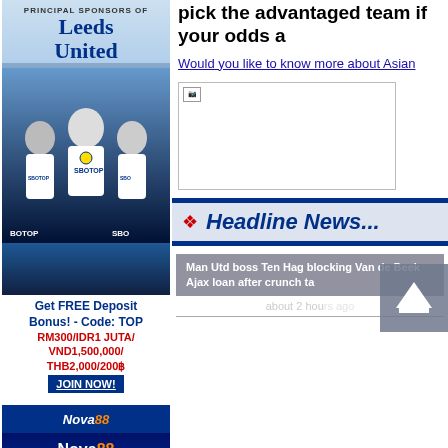[Figure (advertisement): SBOTOP - Principal Sponsors of Leeds United. Football players image. Get FREE Deposit Bonus! Code: TOP RM300/IDR1 JUTA/VND1,500,000/THB2,000/200. JOIN NOW!]
[Figure (advertisement): Nova88 logo header and banner showing 200% WELCOME bonus]
pick the advantaged team if your odds a
Would you like to know more about Asian
[Figure (screenshot): Partially loaded image placeholder]
Headline News...
Man Utd boss Ten Hag blocking Van de Beek Ajax loan after crunch talk
about 2 hours ago